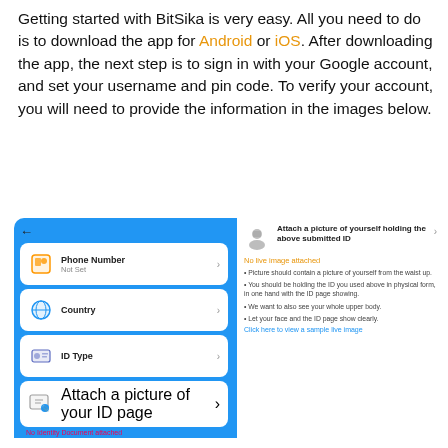Getting started with BitSika is very easy. All you need to do is to download the app for Android or iOS. After downloading the app, the next step is to sign in with your Google account, and set your username and pin code. To verify your account, you will need to provide the information in the images below.
[Figure (screenshot): Screenshot of BitSika app showing account verification screens: left panel with Phone Number, Country, ID Type, and Attach ID page options on blue background; right panel with instructions to attach a picture of yourself holding the submitted ID, with bullet point requirements and a link to view a sample live image.]